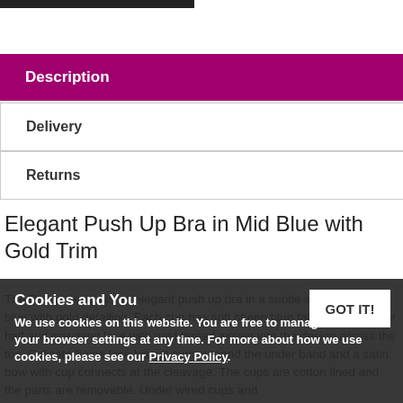[Figure (other): Dark image bar at top left]
Description
Delivery
Returns
Elegant Push Up Bra in Mid Blue with Gold Trim
The Rossa design is an elegant push up bra in a subtle shade of deep blue with gold detailing. Each cup has soft sheen blue fabric on the lower half and matching lace with gold thread woven into the design across the top. Delicate beige lace biscuit cups expand the under band and a satin bow with cup connects at the cleavage. The cups are cotton lined and the parts are removable. Under wired cups and
Cookies and You
We use cookies on this website. You are free to manage these via your browser settings at any time. For more about how we use cookies, please see our Privacy Policy.
GOT IT!